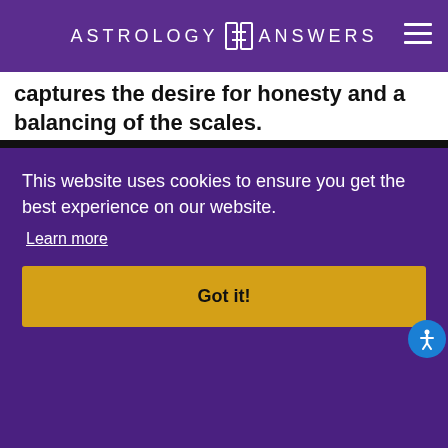ASTROLOGY ANSWERS
captures the desire for honesty and a balancing of the scales.
Advertisement
[Figure (illustration): Orange advertisement banner showing shopping cart with various products icons and text: Our Most Popular Products – Updated Weekly!]
owards he
eep in n our n the
This website uses cookies to ensure you get the best experience on our website.
Learn more
Got it!
n their